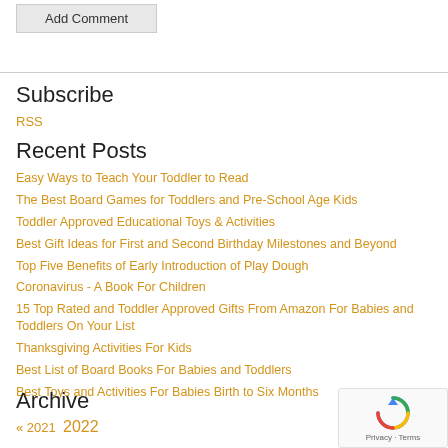Add Comment
Subscribe
RSS
Recent Posts
Easy Ways to Teach Your Toddler to Read
The Best Board Games for Toddlers and Pre-School Age Kids
Toddler Approved Educational Toys & Activities
Best Gift Ideas for First and Second Birthday Milestones and Beyond
Top Five Benefits of Early Introduction of Play Dough
Coronavirus - A Book For Children
15 Top Rated and Toddler Approved Gifts From Amazon For Babies and Toddlers On Your List
Thanksgiving Activities For Kids
Best List of Board Books For Babies and Toddlers
Best Toys and Activities For Babies Birth to Six Months
Archive
« 2021  2022